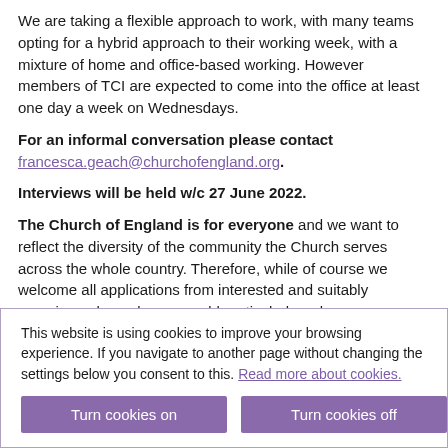We are taking a flexible approach to work, with many teams opting for a hybrid approach to their working week, with a mixture of home and office-based working. However members of TCI are expected to come into the office at least one day a week on Wednesdays.
For an informal conversation please contact francesca.geach@churchofengland.org.
Interviews will be held w/c 27 June 2022.
The Church of England is for everyone and we want to reflect the diversity of the community the Church serves across the whole country. Therefore, while of course we welcome all applications from interested and suitably experienced people, we would particularly welcome applicants from UK Minority Ethnic Backgrounds.
We offer a unique environment with opportunities for continuous learning, generous annual leave for work life balance, season ticket loans and a range of benefits including discounted entry to attractions and what we feel
This website is using cookies to improve your browsing experience. If you navigate to another page without changing the settings below you consent to this. Read more about cookies.
Turn cookies on
Turn cookies off